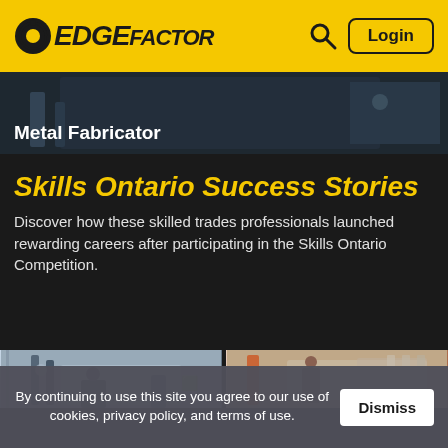EdgeFactor — Login
[Figure (photo): Metal Fabricator - dark industrial background with worker]
Skills Ontario Success Stories
Discover how these skilled trades professionals launched rewarding careers after participating in the Skills Ontario Competition.
[Figure (photo): Two industrial/workplace photos side by side showing workers in a facility]
By continuing to use this site you agree to our use of cookies, privacy policy, and terms of use. Dismiss